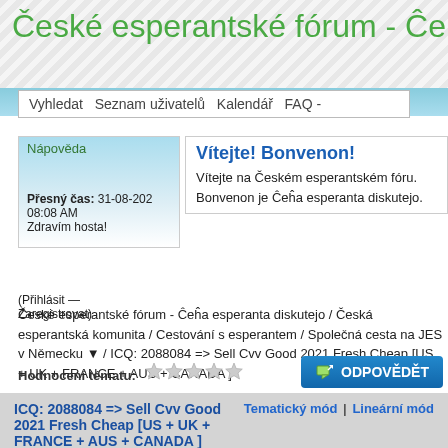České esperantské fórum - Ĉeĥa
Vyhledat  Seznam uživatelů  Kalendář  FAQ -
Nápověda
Vítejte! Bonvenon!
Vítejte na Českém esperantském fóru. Bonvenon je Ĉeĥa esperanta diskutejo.
Přesný čas: 31-08-2021 08:08 AM
Zdravím hosta!
(Přihlásit — Zaregistrovat)
České esperantské fórum - Ĉeĥa esperanta diskutejo / Česká esperantská komunita / Cestování s esperantem / Společná cesta na JES v Německu ▼ / ICQ: 2088084 => Sell Cvv Good 2021 Fresh Cheap [US + UK + FRANCE + AUS + CANADA ]
Hodnocení tématu:
ICQ: 2088084 => Sell Cvv Good 2021 Fresh Cheap [US + UK + FRANCE + AUS + CANADA ]
Tematický mód | Lineární mód